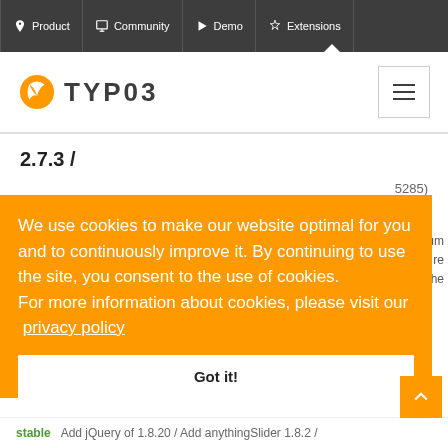Product  Community  Demo  Extensions
[Figure (logo): TYPO3 logo with orange icon and hamburger menu]
2.7.3 /
...5285)
...sionNum  ...r and re  ...Q to the
We use cookies to make our website optimal for you and to continuously improve it. By continuing to use the site, you consent to the use of cookies.
For more information about cookies, please visit our privacy policy
Got it!
stable  Add jQuery of 1.8.20 / Add anythingSlider 1.8.2 /